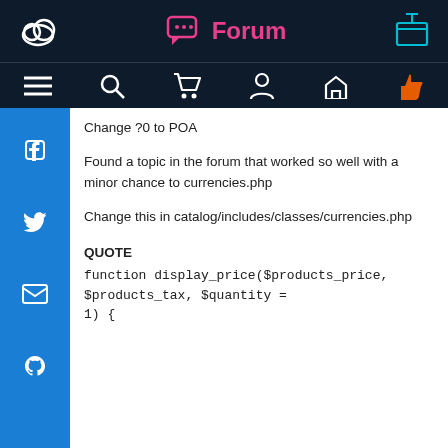Forum
Change ?0 to POA
Found a topic in the forum that worked so well with a minor chance to currencies.php
Change this in catalog/includes/classes/currencies.php
QUOTE